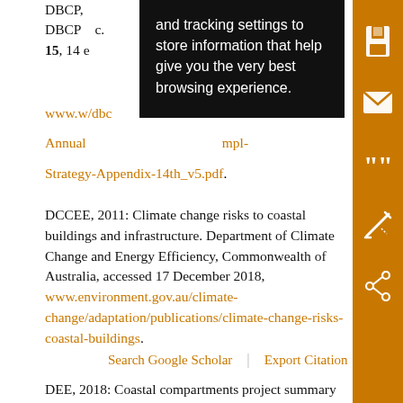DBCP, ... and tracking settings to store information that help give you the very best browsing experience. [tooltip overlay visible]
DBCP [number], [year], [partial text] ...c. 15, 14 e... www.w.../dbc... Annual.../mpl-Strategy-Appendix-14th_v5.pdf.
DCCEE, 2011: Climate change risks to coastal buildings and infrastructure. Department of Climate Change and Energy Efficiency, Commonwealth of Australia, accessed 17 December 2018, www.environment.gov.au/climate-change/adaptation/publications/climate-change-risks-coastal-buildings.
Search Google Scholar | Export Citation
DEE, 2018: Coastal compartments project summary